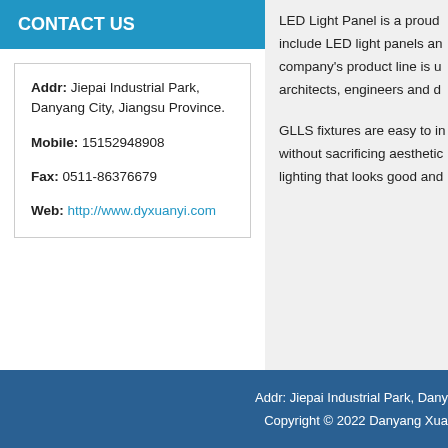CONTACT US
Addr: Jiepai Industrial Park, Danyang City, Jiangsu Province.
Mobile: 15152948908
Fax: 0511-86376679
Web: http://www.dyxuanyi.com
LED Light Panel is a proud... include LED light panels an... company's product line is u... architects, engineers and d...
GLLS fixtures are easy to i... without sacrificing aesthetic... lighting that looks good and...
Addr: Jiepai Industrial Park, Dany...
Copyright © 2022 Danyang Xua...